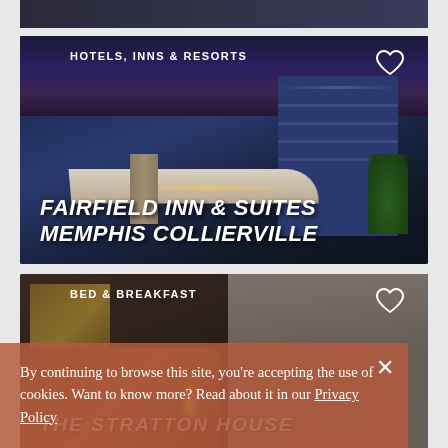[Figure (photo): Partial view of a hotel or accommodation card at the top, dark background, cut off.]
[Figure (photo): Hotel exterior photo at dusk/night showing a modern hotel building with covered canopy entrance, stone pillar, warm lights, blue building facade and greenery in background.]
HOTELS, INNS & RESORTS
FAIRFIELD INN & SUITES MEMPHIS COLLIERVILLE
[Figure (photo): Bed & Breakfast interior photo showing an ornate wooden headboard bed with lamps, stained glass window details, and draped curtains.]
BED & BREAKFAST
THE STRATTON HOUSE
By continuing to browse this site, you're accepting the use of cookies. Want to know more? Read about it in our Privacy Policy